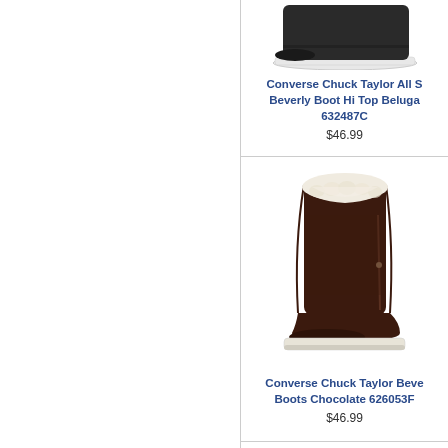[Figure (photo): Converse Chuck Taylor All Star Beverly Boot Hi Top Beluga sneaker boot, partially visible at top of page, dark colored with white sole]
Converse Chuck Taylor All S Beverly Boot Hi Top Beluga 632487C
$46.99
[Figure (photo): Converse Chuck Taylor Beverly Boot in Chocolate brown suede with white sherpa/fleece trim at top, tall boot style with Converse rubber sole]
Converse Chuck Taylor Beve Boots Chocolate 626053F
$46.99
[Figure (photo): Third product partially visible at bottom of page]